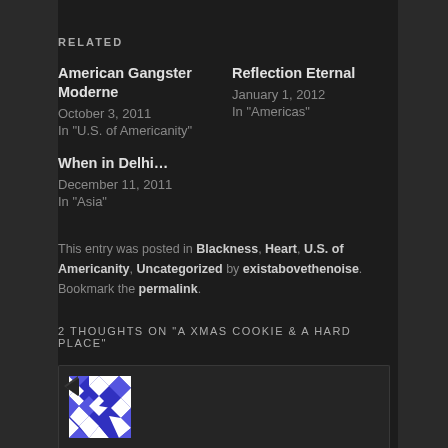RELATED
American Gangster Moderne
October 3, 2011
In "U.S. of Americanity"
Reflection Eternal
January 1, 2012
In "Americas"
When in Delhi…
December 11, 2011
In "Asia"
This entry was posted in Blackness, Heart, U.S. of Americanity, Uncategorized by existabovethenoise. Bookmark the permalink.
2 THOUGHTS ON "A XMAS COOKIE & A HARD PLACE"
[Figure (illustration): Blue and white geometric/mosaic avatar icon in a comment box]